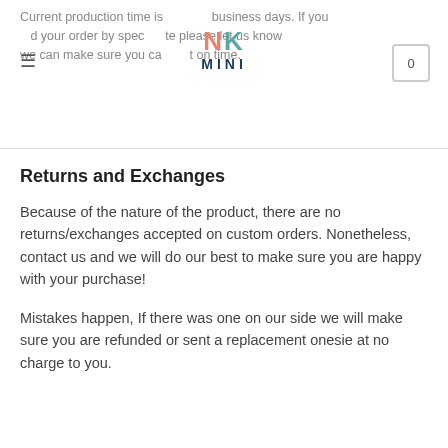Current production time is 5 business days. If you need your order by specific date please let us know and we can make sure you can get it on time.
Returns and Exchanges
Because of the nature of the product, there are no returns/exchanges accepted on custom orders. Nonetheless, contact us and we will do our best to make sure you are happy with your purchase!
Mistakes happen, If there was one on our side we will make sure you are refunded or sent a replacement onesie at no charge to you.